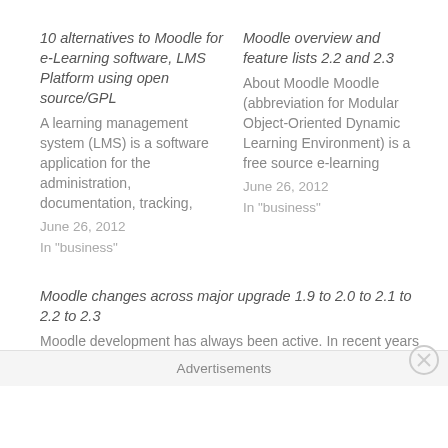10 alternatives to Moodle for e-Learning software, LMS Platform using open source/GPL
A learning management system (LMS) is a software application for the administration, documentation, tracking,
June 26, 2012
In "business"
Moodle overview and feature lists 2.2 and 2.3
About Moodle Moodle (abbreviation for Modular Object-Oriented Dynamic Learning Environment) is a free source e-learning
June 26, 2012
In "business"
Moodle changes across major upgrade 1.9 to 2.0 to 2.1 to 2.2 to 2.3
Moodle development has always been active. In recent years the changes
Advertisements